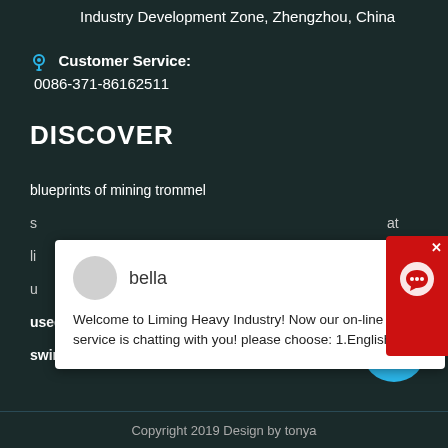Industry Development Zone, Zhengzhou, China
Customer Service:
0086-371-86162511
DISCOVER
blueprints of mining trommel
s... at
li... w
u...
used engraving price mini 3d quarry stone cutting machine
swing grinder manufacturer in kolhapur
[Figure (screenshot): Chat popup with avatar, name 'bella', message: Welcome to Liming Heavy Industry! Now our on-line service is chatting with you! please choose: 1.English]
[Figure (infographic): Red chat support widget in top right corner with X button and headset icon]
[Figure (infographic): Blue circular badge with number 1]
Copyright 2019 Design by tonya